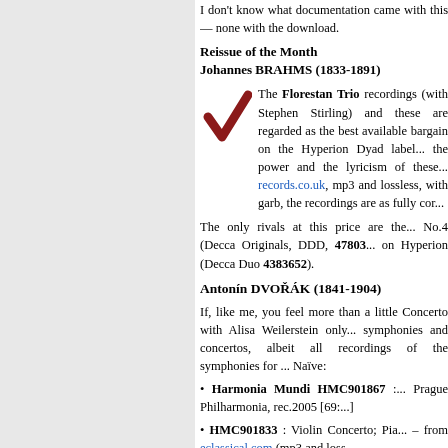I don't know what documentation came with this — none with the download.
Reissue of the Month
Johannes BRAHMS (1833-1891)
The Florestan Trio recordings (with Stephen Stirling) and the... regarded as the best available bargain on the Hyperion Dyad label... the power and the lyricism of the... records.co.uk, mp3 and lossless, w... garb, the recordings are as fully cor...
The only rivals at this price are th... No.4 (Decca Originals, DDD, 47803... on Hyperion (Decca Duo 4383652).
Antonín DVOŘÁK (1841-1904)
If, like me, you feel more than a l... Concerto with Alisa Weilerstein onl... symphonies and concertos, albeit a... recordings of the symphonies for ... Naïve:
Harmonia Mundi HMC901867 : ... Prague Philharmonia, rec.2005 [69:...
HMC901833 : Violin Concerto; Pia... – from eclassical.com (mp3 and los...
Naïve V5227 : Piano Concerto...